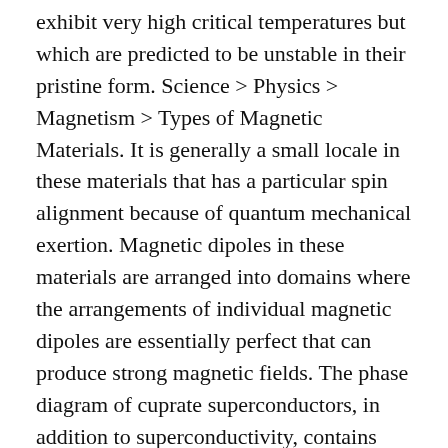exhibit very high critical temperatures but which are predicted to be unstable in their pristine form. Science > Physics > Magnetism > Types of Magnetic Materials. It is generally a small locale in these materials that has a particular spin alignment because of quantum mechanical exertion. Magnetic dipoles in these materials are arranged into domains where the arrangements of individual magnetic dipoles are essentially perfect that can produce strong magnetic fields. The phase diagram of cuprate superconductors, in addition to superconductivity, contains many ordered states such as antiferromagnetism, charge density waves, and nematicity. Ferromagnetic or paramagnetic materials are typically metals or semiconductors but, rarely, they may be insulators. The attractive force is about a million times weaker than the force attracting ferromagnetic materials. It occurs mainly due to the presence of unpaired electrons in the